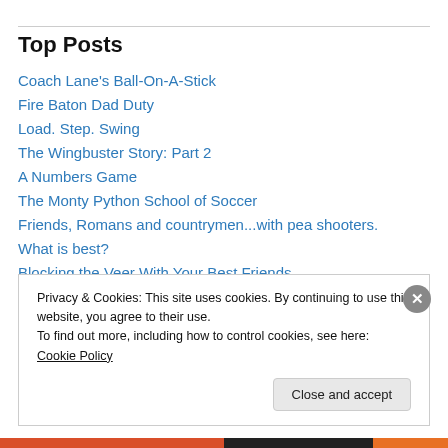Top Posts
Coach Lane's Ball-On-A-Stick
Fire Baton Dad Duty
Load. Step. Swing
The Wingbuster Story: Part 2
A Numbers Game
The Monty Python School of Soccer
Friends, Romans and countrymen...with pea shooters.
What is best?
Blocking the Veer With Your Best Friends
Privacy & Cookies: This site uses cookies. By continuing to use this website, you agree to their use. To find out more, including how to control cookies, see here: Cookie Policy
Close and accept